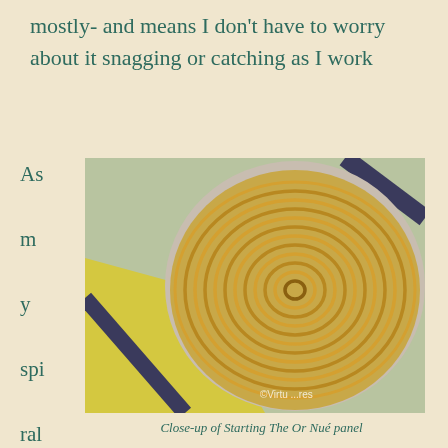mostly- and means I don't have to worry about it snagging or catching as I work
As my spiral becomes larger, an
[Figure (photo): Close-up photograph of an Or Nué embroidery panel showing a gold metal thread spiral coiled into a large disc shape on a canvas with blue and yellow painted design. A copyright watermark reads '©Virtua... ...res' at the bottom of the image.]
Close-up of Starting The Or Nué panel